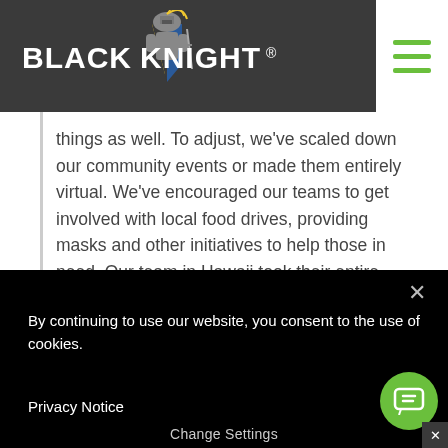[Figure (logo): Black Knight logo with armored knight figure and company name in white text on dark background]
things as well. To adjust, we've scaled down our community events or made them entirely virtual. We've encouraged our teams to get involved with local food drives, providing masks and other initiatives to help those in need. Our team in Hawaii took their entire marketing budget and provided food for the community in partnership with a local restaurant. We were in awe of their
By continuing to use our website, you consent to the use of cookies.
Privacy Notice
Change Settings